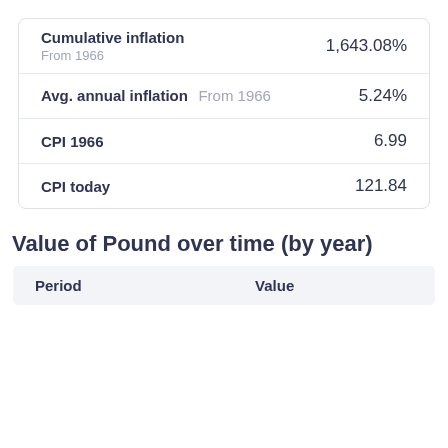|  |  |
| --- | --- |
| Cumulative inflation
From 1966 | 1,643.08% |
| Avg. annual inflation From 1966 | 5.24% |
| CPI 1966 | 6.99 |
| CPI today | 121.84 |
Value of Pound over time (by year)
| Period | Value |
| --- | --- |